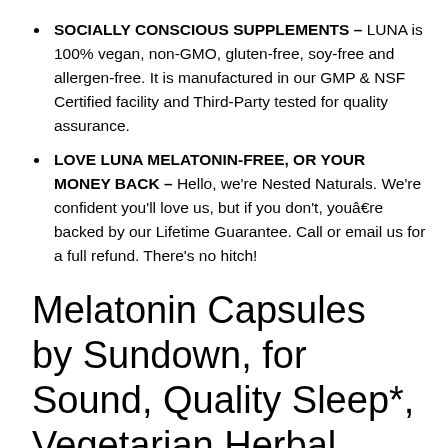SOCIALLY CONSCIOUS SUPPLEMENTS – LUNA is 100% vegan, non-GMO, gluten-free, soy-free and allergen-free. It is manufactured in our GMP & NSF Certified facility and Third-Party tested for quality assurance.
LOVE LUNA MELATONIN-FREE, OR YOUR MONEY BACK – Hello, we're Nested Naturals. We're confident you'll love us, but if you don't, youâ€re backed by our Lifetime Guarantee. Call or email us for a full refund. There's no hitch!
Melatonin Capsules by Sundown, for Sound, Quality Sleep*, Vegetarian Herbal Blend, Non-GMO^, Free of Gluten, Dairy,